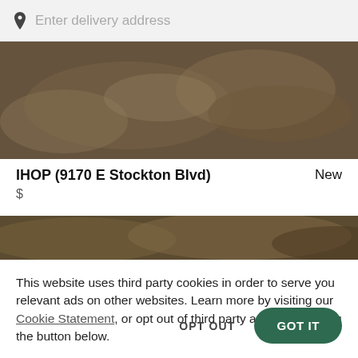Enter delivery address
[Figure (photo): Food photo showing pancakes and plates, dark overlay]
IHOP (9170 E Stockton Blvd)
New
$
[Figure (photo): Food photo showing fries and other dishes, dark overlay]
This website uses third party cookies in order to serve you relevant ads on other websites. Learn more by visiting our Cookie Statement, or opt out of third party ad cookies using the button below.
OPT OUT
GOT IT